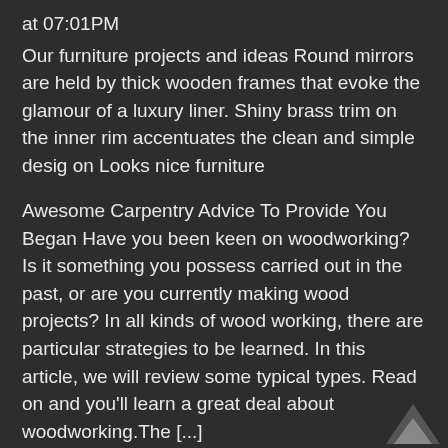at 07:01PM
Our furniture projects and ideas Round mirrors are held by thick wooden frames that evoke the glamour of a luxury liner. Shiny brass trim on the inner rim accentuates the clean and simple desig on Looks nice furniture
Awesome Carpentry Advice To Provide You Began Have you been keen on woodworking? Is it something you possess carried out in the past, or are you currently making wood projects? In all kinds of wood working, there are particular strategies to be learned. In this article, we will review some typical types. Read on and you'll learn a great deal about woodworking.The [...]
How To Have A Specialist Woodwork Undertaking